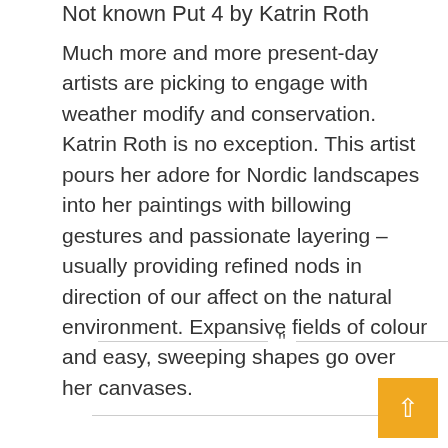Not known Put 4 by Katrin Roth
Much more and more present-day artists are picking to engage with weather modify and conservation. Katrin Roth is no exception. This artist pours her adore for Nordic landscapes into her paintings with billowing gestures and passionate layering – usually providing refined nods in direction of our affect on the natural environment. Expansive fields of colour and easy, sweeping shapes go over her canvases.